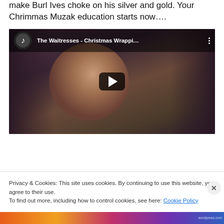make Burl Ives choke on his silver and gold. Your Chrimmas Muzak education starts now….
[Figure (screenshot): YouTube video embed showing 'The Waitresses - Christmas Wrappi...' with a play button overlay on a dark stylized image of a woman's face]
Privacy & Cookies: This site uses cookies. By continuing to use this website, you agree to their use.
To find out more, including how to control cookies, see here: Cookie Policy
Close and accept